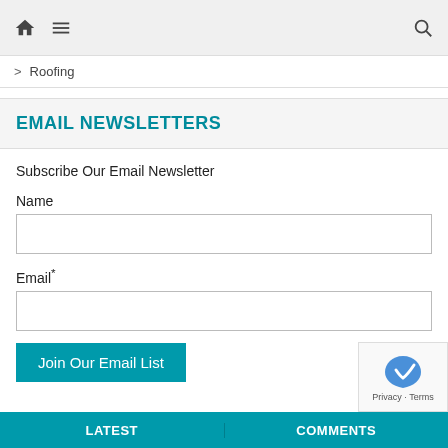Home Menu Search
> Roofing
EMAIL NEWSLETTERS
Subscribe Our Email Newsletter
Name
Email*
Join Our Email List
LATEST   COMMENTS